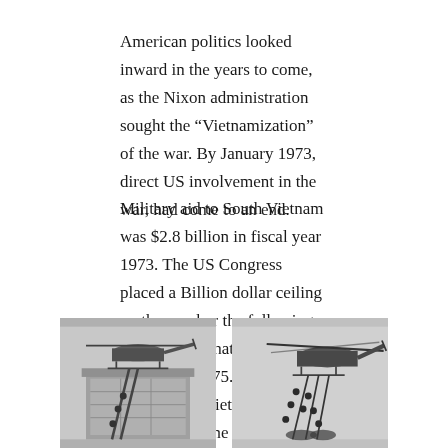American politics looked inward in the years to come, as the Nixon administration sought the “Vietnamization” of the war. By January 1973, direct US involvement in the war, had come to an end.
Military aid to South Vietnam was $2.8 billion in fiscal year 1973. The US Congress placed a Billion dollar ceiling on the number the following year, cutting that to $300 million, in 1975. The Republic of Vietnam collapsed, some fifty-five days later.
[Figure (photo): Black and white photograph of a helicopter on a rooftop with people climbing a ladder beneath it during the fall of Saigon.]
[Figure (photo): Black and white photograph of a helicopter in flight with people hanging from it during the fall of Saigon evacuation.]